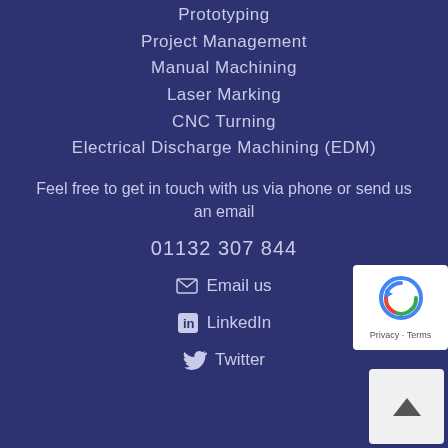Prototyping
Project Management
Manual Machining
Laser Marking
CNC Turning
Electrical Discharge Machining (EDM)
Feel free to get in touch with us via phone or send us an email
01132 307 844
✉ Email us
in LinkedIn
Twitter